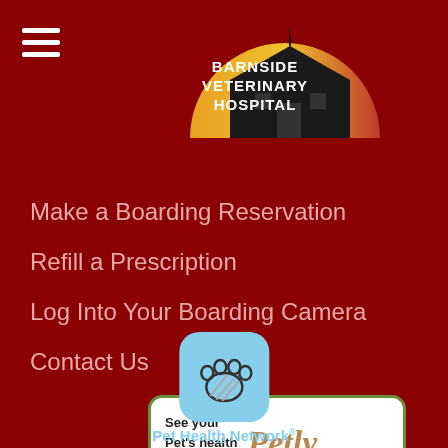[Figure (logo): Barnside Veterinary Hospital logo with barn silhouette and sunrise/sunset arc in red, yellow, orange gradient with white text]
Make a Boarding Reservation
Refill a Prescription
Log Into Your Boarding Camera
Contact Us
[Figure (logo): Petly banner: white rounded rectangle with green border, text 'See your Pet's health records at:' and Petly logo in tan/gold script]
[Figure (logo): Pet Health Network logo: light blue rounded square icon with paw print outline, label 'Pet Health Network' in light blue below]